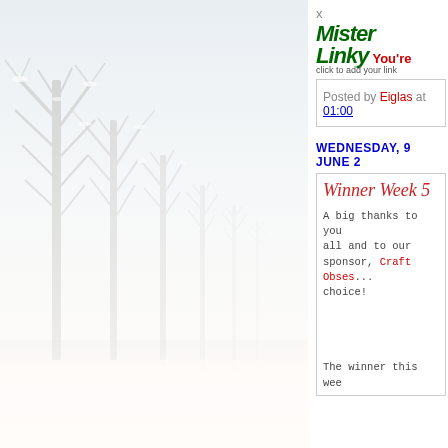[Figure (photo): Winter snow scene with bare frost-covered trees in a row, fading into white misty fog, white snowy ground, pale cool tones]
x
[Figure (screenshot): MisterLinky widget logo — green italic cursive text 'Mister Linky' with 'click to add your link' below, followed by red bold text "You're"]
Posted by Eiglas at 01:00
WEDNESDAY, 9 JUNE 2
Winner Week 5
A big thanks to you all and to our sponsor, Craft Obses... choice!
The winner this wee